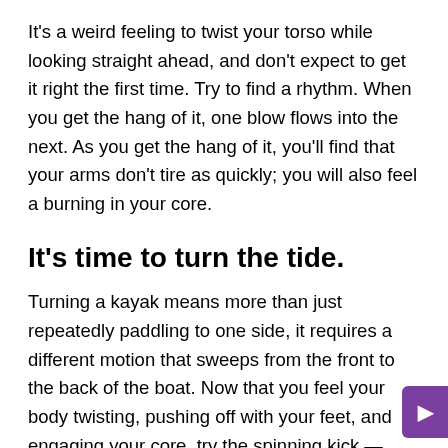It's a weird feeling to twist your torso while looking straight ahead, and don't expect to get it right the first time. Try to find a rhythm. When you get the hang of it, one blow flows into the next. As you get the hang of it, you'll find that your arms don't tire as quickly; you will also feel a burning in your core.
It's time to turn the tide.
Turning a kayak means more than just repeatedly paddling to one side, it requires a different motion that sweeps from the front to the back of the boat. Now that you feel your body twisting, pushing off with your feet, and engaging your core, try the spinning kick — commonly called